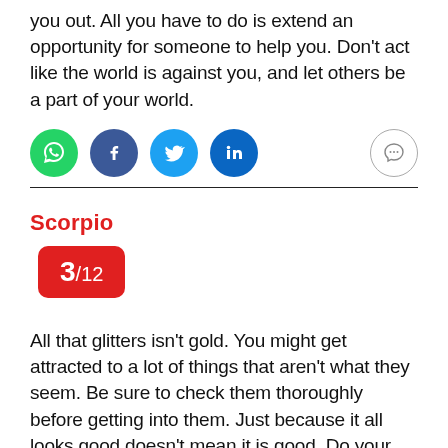you out. All you have to do is extend an opportunity for someone to help you. Don't act like the world is against you, and let others be a part of your world.
[Figure (other): Social share icons row: WhatsApp (green), Facebook (dark blue), Twitter (light blue), LinkedIn (blue), and a comment/chat icon (outline circle) on the right.]
Scorpio
3/12
All that glitters isn't gold. You might get attracted to a lot of things that aren't what they seem. Be sure to check them thoroughly before getting into them. Just because it all looks good doesn't mean it is good. Do your